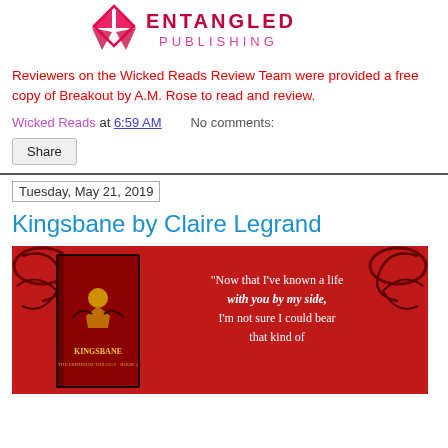[Figure (logo): Entangled Publishing logo with diamond/butterfly shape in pink/red and text ENTANGLED PUBLISHING]
Reviewers on the Wicked Reads Review Team were provided a free copy of Breakout by A.M. Rose to read and review.
Wicked Reads at 6:59 AM   No comments:
Share
Tuesday, May 21, 2019
Kingsbane by Claire Legrand
[Figure (photo): Book cover and promotional banner for Kingsbane by Claire Legrand on a red background with quote: Now that I've known a life with you by my side, I'm not sure I could bear that kind of]